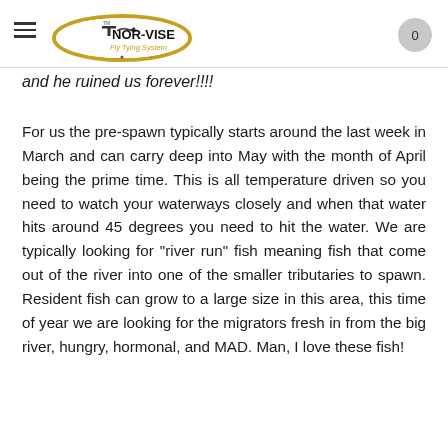NOR-VISE Fly Tying System — navigation header with logo and cart
and he ruined us forever!!!!
For us the pre-spawn typically starts around the last week in March and can carry deep into May with the month of April being the prime time. This is all temperature driven so you need to watch your waterways closely and when that water hits around 45 degrees you need to hit the water. We are typically looking for "river run" fish meaning fish that come out of the river into one of the smaller tributaries to spawn. Resident fish can grow to a large size in this area, this time of year we are looking for the migrators fresh in from the big river, hungry, hormonal, and MAD. Man, I love these fish!